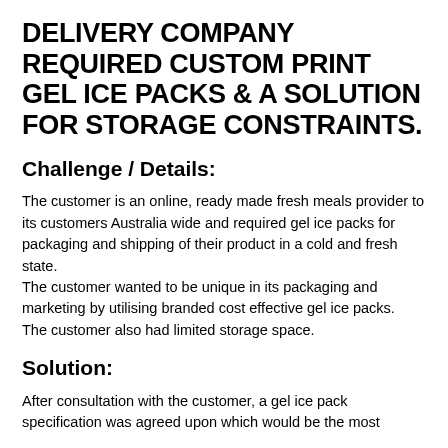DELIVERY COMPANY REQUIRED CUSTOM PRINT GEL ICE PACKS & A SOLUTION FOR STORAGE CONSTRAINTS.
Challenge / Details:
The customer is an online, ready made fresh meals provider to its customers Australia wide and required gel ice packs for packaging and shipping of their product in a cold and fresh state. The customer wanted to be unique in its packaging and marketing by utilising branded cost effective gel ice packs. The customer also had limited storage space.
Solution:
After consultation with the customer, a gel ice pack specification was agreed upon which would be the most